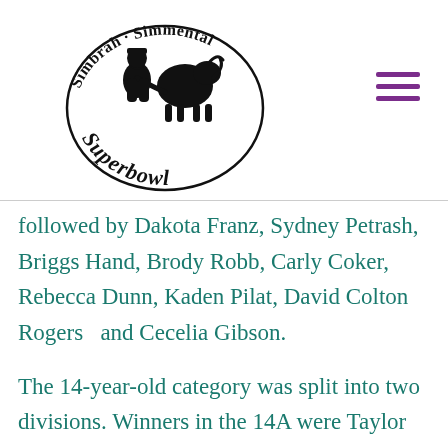[Figure (logo): Simbrah·Simmental Superbowl logo: black and white oval logo with silhouettes of a person and a bull/cattle, with text 'Simbrah·Simmental' arching over the top and 'Superbowl' curving along the bottom.]
followed by Dakota Franz, Sydney Petrash, Briggs Hand, Brody Robb, Carly Coker, Rebecca Dunn, Kaden Pilat, David Colton Rogers  and Cecelia Gibson.
The 14-year-old category was split into two divisions. Winners in the 14A were Taylor